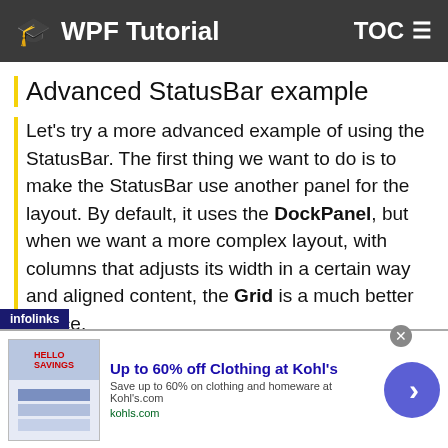WPF Tutorial    TOC
Advanced StatusBar example
Let's try a more advanced example of using the StatusBar. The first thing we want to do is to make the StatusBar use another panel for the layout. By default, it uses the DockPanel, but when we want a more complex layout, with columns that adjusts its width in a certain way and aligned content, the Grid is a much better choice.
We'll divide the Grid into three areas, with the left and right one having a fixed width and the middle column
[Figure (screenshot): Advertisement banner: 'Up to 60% off Clothing at Kohl's' with infolinks label, ad image, description text, kohls.com URL, close button, and blue arrow button]